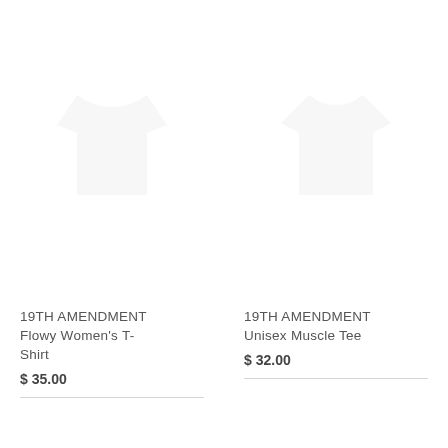[Figure (photo): Faint ghost/watermark image of a t-shirt, left product]
19TH AMENDMENT
Flowy Women's T-Shirt
$ 35.00
[Figure (photo): Faint ghost/watermark image of a muscle tee, right product]
19TH AMENDMENT
Unisex Muscle Tee
$ 32.00